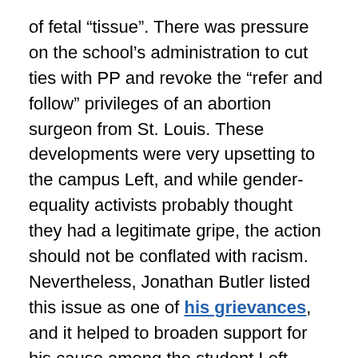of fetal “tissue”. There was pressure on the school’s administration to cut ties with PP and revoke the “refer and follow” privileges of an abortion surgeon from St. Louis. These developments were very upsetting to the campus Left, and while gender-equality activists probably thought they had a legitimate gripe, the action should not be conflated with racism. Nevertheless, Jonathan Butler listed this issue as one of his grievances, and it helped to broaden support for his cause among the student Left.
October 3: The President of the Missouri Student Association, Payton Head, claimed that several men riding in the back of a pickup truck screamed racial slurs as he walked across campus. That is awful, but unless he can identify the individuals or the truck, nothing can be done about that particular incident. It was featured in